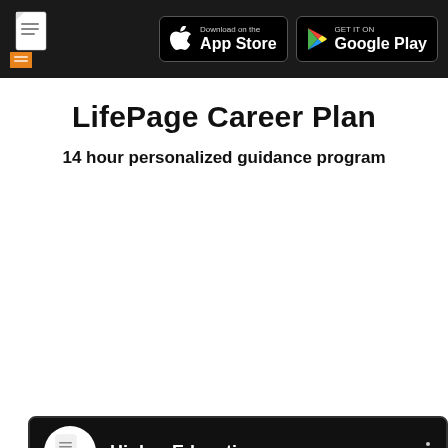LifePage | Download on the App Store | GET IT ON Google Play
LifePage Career Plan
14 hour personalized guidance program
[Figure (screenshot): Embedded video player with LifePage channel icon and 'Higher Education' channel name on a dark background, with three-dot menu icon in top right corner]